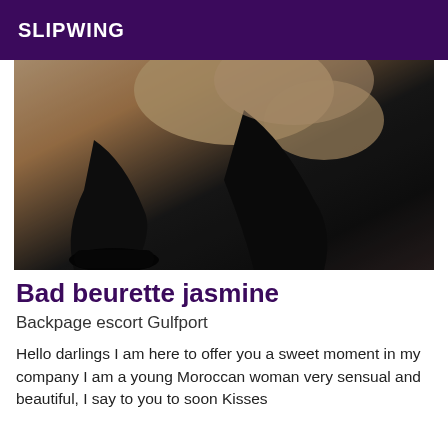SLIPWING
[Figure (photo): Close-up photograph of a person wearing black stockings and black shoes, on a light-colored background.]
Bad beurette jasmine
Backpage escort Gulfport
Hello darlings I am here to offer you a sweet moment in my company I am a young Moroccan woman very sensual and beautiful, I say to you to soon Kisses